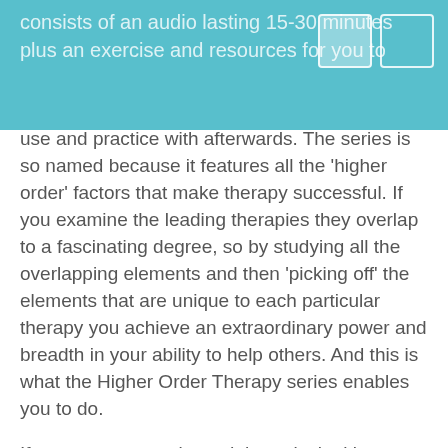consists of an audio lasting 15-30 minutes plus an exercise and resources for you to use and practice with afterwards. The series is so named because it features all the 'higher order' factors that make therapy successful. If you examine the leading therapies they overlap to a fascinating degree, so by studying all the overlapping elements and then 'picking off' the elements that are unique to each particular therapy you achieve an extraordinary power and breadth in your ability to help others. And this is what the Higher Order Therapy series enables you to do.
If you are an experienced therapist looking at the Higher Order Therapy modules you will quickly be able to see the ones you are proficient at and the ones you may need to